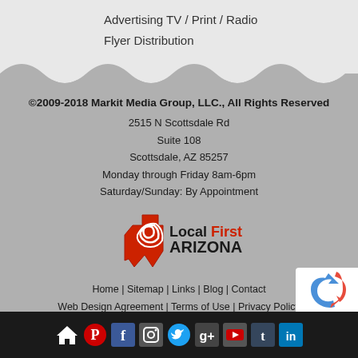Advertising TV / Print / Radio
Flyer Distribution
©2009-2018 Markit Media Group, LLC., All Rights Reserved
2515 N Scottsdale Rd
Suite 108
Scottsdale, AZ 85257
Monday through Friday 8am-6pm
Saturday/Sunday: By Appointment
[Figure (logo): Local First Arizona logo with red Arizona state outline and text]
Home | Sitemap | Links | Blog | Contact
Web Design Agreement | Terms of Use | Privacy Policy
© 2018 Markit Media
[Figure (other): Social media icons bar: home, pinterest, facebook, instagram, twitter, google+, youtube, tumblr, linkedin]
[Figure (other): reCAPTCHA badge]